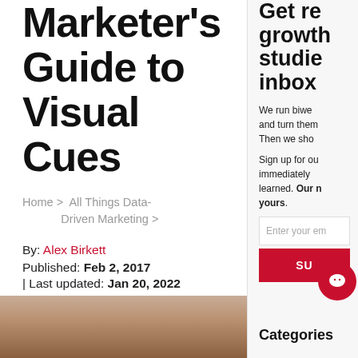Marketer's Guide to Visual Cues
Home > All Things Data-Driven Marketing >
By: Alex Birkett
Published: Feb 2, 2017
| Last updated: Jan 20, 2022
STAY UPDATED
[Figure (photo): Photo of a woman, partially visible at bottom of left column]
Get re growth studie inbox
We run biwe and turn them Then we sho
Sign up for ou immediately learned. Our n yours.
Enter your em
SU
[Figure (illustration): Red chat bubble icon with white smiley face]
Categories